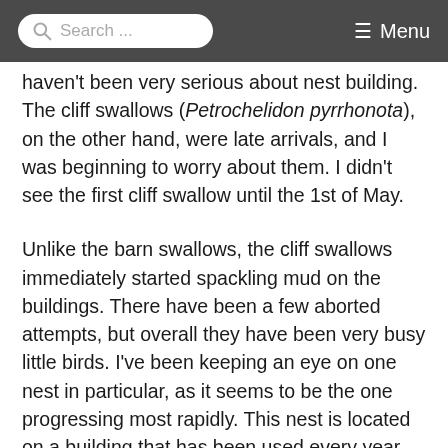Search ...  Menu
haven't been very serious about nest building. The cliff swallows (Petrochelidon pyrrhonota), on the other hand, were late arrivals, and I was beginning to worry about them. I didn't see the first cliff swallow until the 1st of May.
Unlike the barn swallows, the cliff swallows immediately started spackling mud on the buildings. There have been a few aborted attempts, but overall they have been very busy little birds. I've been keeping an eye on one nest in particular, as it seems to be the one progressing most rapidly. This nest is located on a building that has been used every year, by both barn swallows and cliff swallows. In previous years I've seen and photographed the nests side-by-